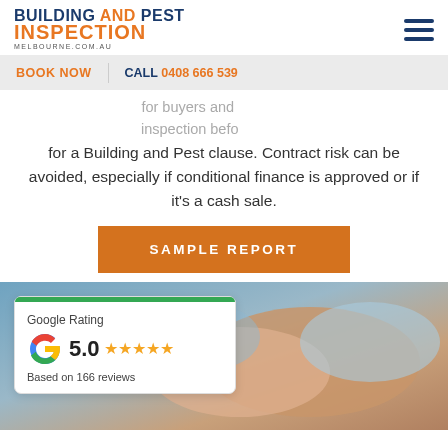Building and Pest Inspection Melbourne.com.au
BOOK NOW | CALL 0408 666 539
for buyers and ... inspection befo ... for a Building and Pest clause. Contract risk can be avoided, especially if conditional finance is approved or if it's a cash sale.
[Figure (other): Orange button labeled SAMPLE REPORT]
[Figure (photo): Two people shaking hands in business attire, with a Google Rating card overlay showing 5.0 stars based on 166 reviews]